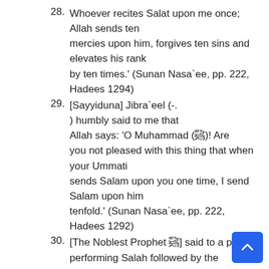28. Whoever recites Salat upon me once; Allah sends ten mercies upon him, forgives ten sins and elevates his rank by ten times.' (Sunan Nasa`ee, pp. 222, Hadees 1294)
29. [Sayyiduna] Jibra`eel (-. ) humbly said to me that Allah says: 'O Muhammad (â )! Are you not pleased with this thing that when your Ummati sends Salam upon you one time, I send Salam upon him tenfold.' (Sunan Nasa`ee, pp. 222, Hadees 1292)
30. [The Noblest Prophet â ] said to a person performing Salah followed by the